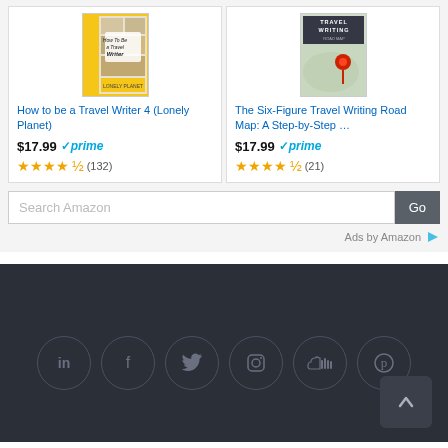[Figure (screenshot): Book cover: How to be a Travel Writer 4 (Lonely Planet) with yellow background]
How to be a Travel Writer 4 (Lonely Planet)
$17.99 prime
★★★★½ (132)
[Figure (screenshot): Book cover: The Six-Figure Travel Writing Road Map with map/pin imagery]
The Six-Figure Travel Writing Road Map: A Step-by-Step …
$17.99 prime
★★★★½ (21)
Search Amazon
Go
Ads by Amazon
[Figure (screenshot): Footer with social media icons: LinkedIn, Facebook, Twitter, Instagram, SoundCloud, Pinterest — dark background]